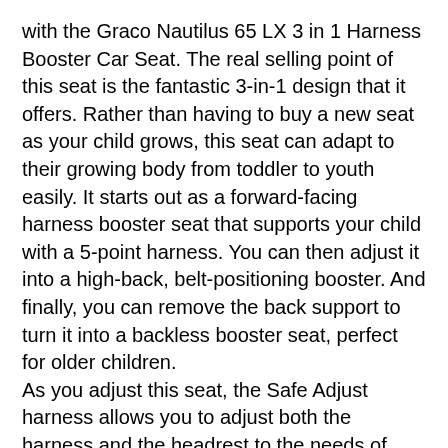with the Graco Nautilus 65 LX 3 in 1 Harness Booster Car Seat. The real selling point of this seat is the fantastic 3-in-1 design that it offers. Rather than having to buy a new seat as your child grows, this seat can adapt to their growing body from toddler to youth easily. It starts out as a forward-facing harness booster seat that supports your child with a 5-point harness. You can then adjust it into a high-back, belt-positioning booster. And finally, you can remove the back support to turn it into a backless booster seat, perfect for older children.
As you adjust this seat, the Safe Adjust harness allows you to adjust both the harness and the headrest to the needs of your child incredibly quickly and easily. Installing the seat is just as simple whether you plan on using the seatbelt or the LATCH system. Both options are totally safe